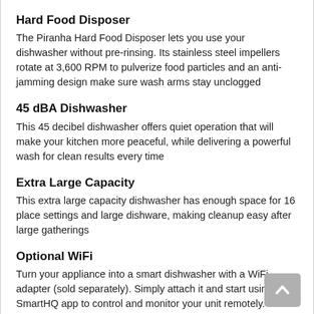Hard Food Disposer
The Piranha Hard Food Disposer lets you use your dishwasher without pre-rinsing. Its stainless steel impellers rotate at 3,600 RPM to pulverize food particles and an anti-jamming design make sure wash arms stay unclogged
45 dBA Dishwasher
This 45 decibel dishwasher offers quiet operation that will make your kitchen more peaceful, while delivering a powerful wash for clean results every time
Extra Large Capacity
This extra large capacity dishwasher has enough space for 16 place settings and large dishware, making cleanup easy after large gatherings
Optional WiFi
Turn your appliance into a smart dishwasher with a WiFi adapter (sold separately). Simply attach it and start using the SmartHQ app to control and monitor your unit remotely. You can even reorder detergent